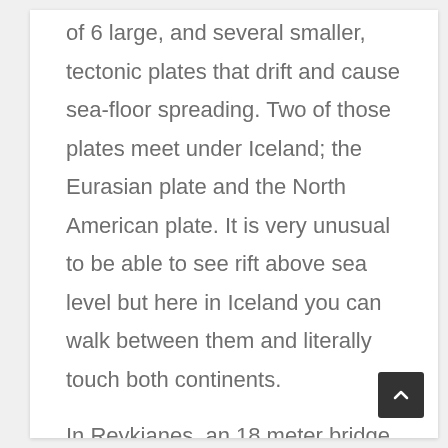of 6 large, and several smaller, tectonic plates that drift and cause sea-floor spreading. Two of those plates meet under Iceland; the Eurasian plate and the North American plate. It is very unusual to be able to see rift above sea level but here in Iceland you can walk between them and literally touch both continents.

In Reykjanes, an 18 meter bridge has been built of the rift and you can cross it for